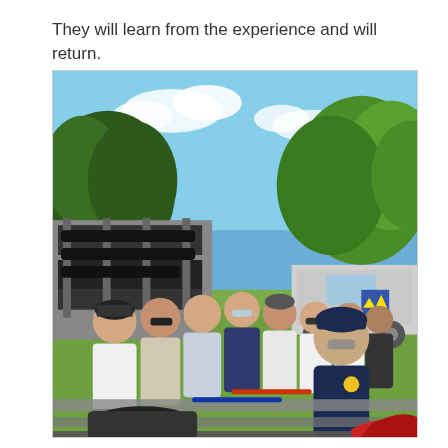They will learn from the experience and will return.
[Figure (photo): A group of young male rowers and a coach standing outdoors at a rowing event. They are posed near rowing equipment and boat trailers. The background shows trees, a blue sky with clouds, and a vehicle with a blue and yellow logo. The coach, wearing a navy hoodie and dark cap, stands at the front right. The rowers are wearing white t-shirts and athletic wear.]